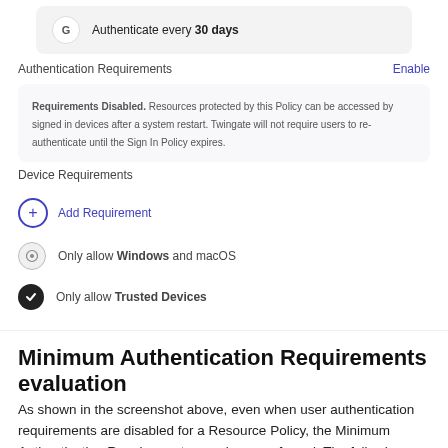[Figure (screenshot): UI screenshot showing Google authentication row with 'Authenticate every 30 days' text]
Authentication Requirements
Enable
Requirements Disabled. Resources protected by this Policy can be accessed by signed in devices after a system restart. Twingate will not require users to re-authenticate until the Sign In Policy expires.
Device Requirements
Add Requirement
Only allow Windows and macOS
Only allow Trusted Devices
Minimum Authentication Requirements evaluation
As shown in the screenshot above, even when user authentication requirements are disabled for a Resource Policy, the Minimum Authentication Requirements are always enforced. The following rules apply when evaluating a device-only policy: